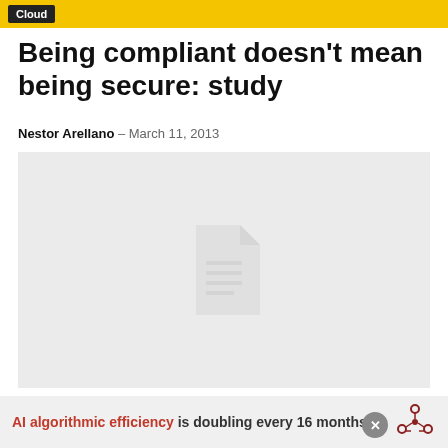Cloud
Being compliant doesn't mean being secure: study
Nestor Arellano – March 11, 2013
[Figure (other): Gray placeholder image area with a faint document/file icon in the center]
AI algorithmic efficiency is doubling every 16 months